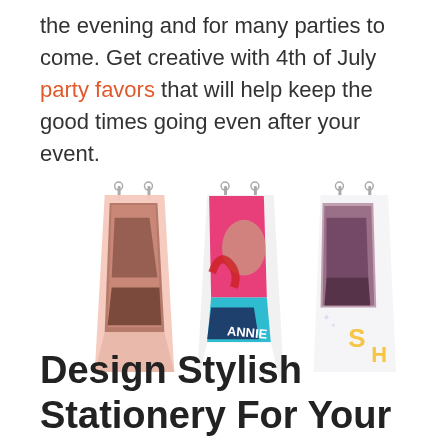the evening and for many parties to come. Get creative with 4th of July party favors that will help keep the good times going even after your event.
[Figure (photo): Three colorful custom printed beach towels hanging on wall hooks against a white background. Left towel has photo print in pink/brown tones, middle towel has bright pink/blue/white design with 'ANNIE' text, right towel is white with photo print and yellow 'SH' letters visible.]
Design Stylish Stationery For Your